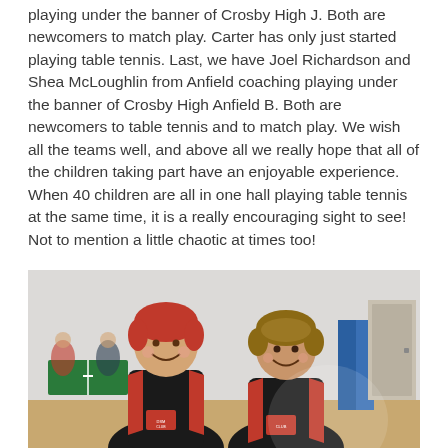playing under the banner of Crosby High J. Both are newcomers to match play. Carter has only just started playing table tennis. Last, we have Joel Richardson and Shea McLoughlin from Anfield coaching playing under the banner of Crosby High Anfield B. Both are newcomers to table tennis and to match play. We wish all the teams well, and above all we really hope that all of the children taking part have an enjoyable experience. When 40 children are all in one hall playing table tennis at the same time, it is a really encouraging sight to see! Not to mention a little chaotic at times too!
[Figure (photo): Two young boys wearing black and red table tennis club shirts, smiling at the camera inside a sports hall with table tennis tables visible in the background.]